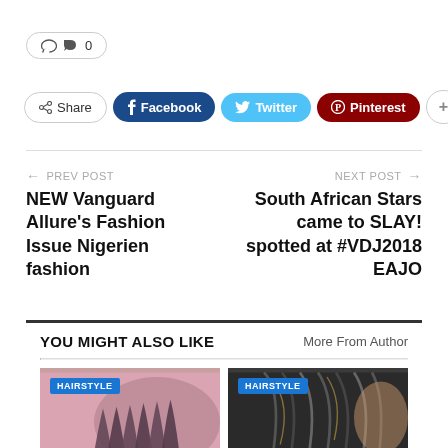💬 0
Share | Facebook | Twitter | Pinterest | +
← PREV POST — NEW Vanguard Allure's Fashion Issue Nigerien fashion
NEXT POST → — South African Stars came to SLAY! spotted at #VDJ2018 EAJO
YOU MIGHT ALSO LIKE
More From Author
[Figure (photo): Hairstyle photo left - braids]
[Figure (photo): Hairstyle photo right - braids]